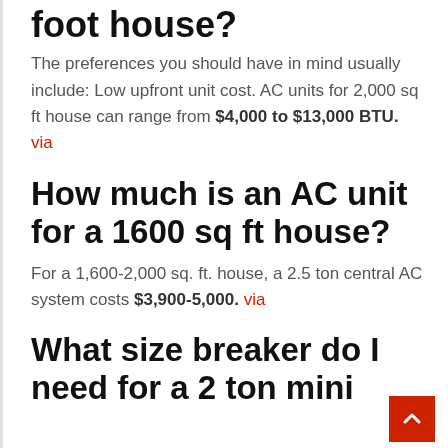foot house?
The preferences you should have in mind usually include: Low upfront unit cost. AC units for 2,000 sq ft house can range from $4,000 to $13,000 BTU. via
How much is an AC unit for a 1600 sq ft house?
For a 1,600-2,000 sq. ft. house, a 2.5 ton central AC system costs $3,900-5,000. via
What size breaker do I need for a 2 ton mini